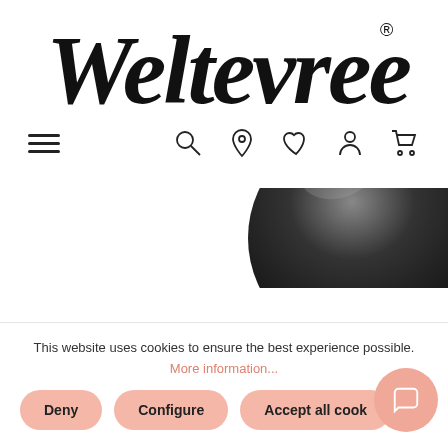[Figure (logo): Weltevree brand logo in italic serif script with registered trademark symbol]
[Figure (screenshot): Navigation bar with hamburger menu icon on left and search, location pin, heart, person, and cart icons on right]
[Figure (photo): Partial view of a dark spherical product (appears black) visible in bottom-right corner of the content area, with a scroll-to-top button on the left]
This website uses cookies to ensure the best experience possible.
More information...
Deny
Configure
Accept all cookies